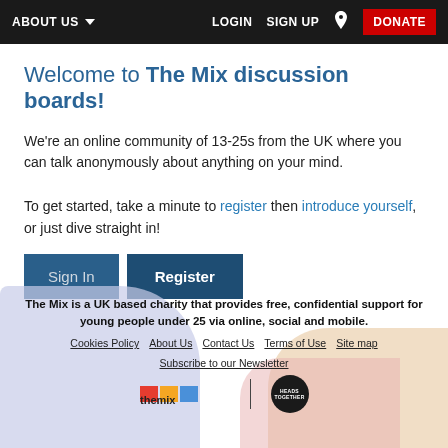ABOUT US  LOGIN  SIGN UP  DONATE
Welcome to The Mix discussion boards!
We're an online community of 13-25s from the UK where you can talk anonymously about anything on your mind.
To get started, take a minute to register then introduce yourself, or just dive straight in!
Sign In  Register
The Mix is a UK based charity that provides free, confidential support for young people under 25 via online, social and mobile.
Cookies Policy  About Us  Contact Us  Terms of Use  Site map  Subscribe to our Newsletter